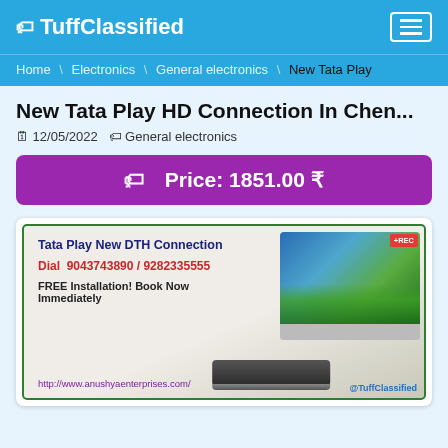🏷 TuffClassified
Home \ Electronics \ General electronics \ New Tata Play
New Tata Play HD Connection In Chen...
🗓 12/05/2022 🏷 General electronics
🏷  Price: 1851.00 ₹
[Figure (photo): Advertisement image for Tata Play New DTH Connection showing a TV screen with landscape imagery, a set-top box, phone numbers 9043743890 / 9282335555, FREE Installation Book Now Immediately, website http://www.anushyaenterprises.com/]